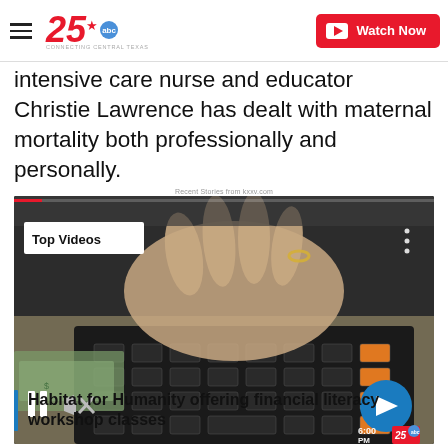25 ABC - Connecting Central Texas | Watch Now
intensive care nurse and educator Christie Lawrence has dealt with maternal mortality both professionally and personally.
Recent Stories from kxxv.com
[Figure (screenshot): Video player showing a close-up of a hand on a calculator with cash, labeled 'Top Videos', with pause and mute controls and a next arrow button]
Habitat for Humanity offering financial literacy workshop classes